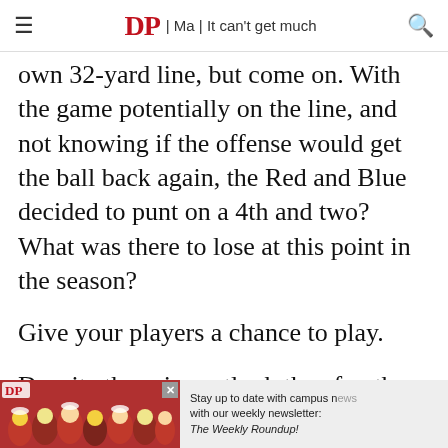≡  DP | Ma | It can't get much  🔍
own 32-yard line, but come on. With the game potentially on the line, and not knowing if the offense would get the ball back again, the Red and Blue decided to punt on a 4th and two? What was there to lose at this point in the season?
Give your players a chance to play.
Despite the grim outlook thus far, there were definitely positive takeaways from Saturday's game against Cornell. For the second week in a
[Figure (photo): Advertisement banner showing crowd of people in red shirts with DP logo and text: Stay up to date with campus news with our weekly newsletter: The Weekly Roundup!]